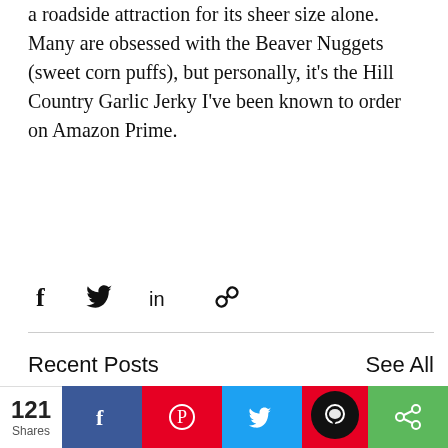a roadside attraction for its sheer size alone. Many are obsessed with the Beaver Nuggets (sweet corn puffs), but personally, it's the Hill Country Garlic Jerky I've been known to order on Amazon Prime.
[Figure (infographic): Social share icons: Facebook (f), Twitter bird, LinkedIn (in), and link/chain icon]
Recent Posts
See All
[Figure (photo): Strip of blog post thumbnail images: green foliage on far left, center shows an axe embedded in a wooden target, far right shows a dark brown panel and a grey arrow-up button]
[Figure (infographic): Bottom social sharing bar with 121 Shares count, Facebook (blue), Pinterest (red), Twitter (blue), chat bubble (black circle on red), and share/green button]